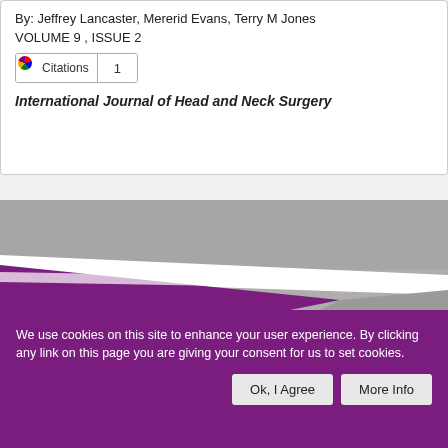By: Jeffrey Lancaster, Mererid Evans, Terry M Jones
VOLUME 9 , ISSUE 2
Citations 1
International Journal of Head and Neck Surgery
[Figure (illustration): Journal cover with grey and purple geometric triangular shapes on a light background]
We use cookies on this site to enhance your user experience. By clicking any link on this page you are giving your consent for us to set cookies.
Ok, I Agree
More Info